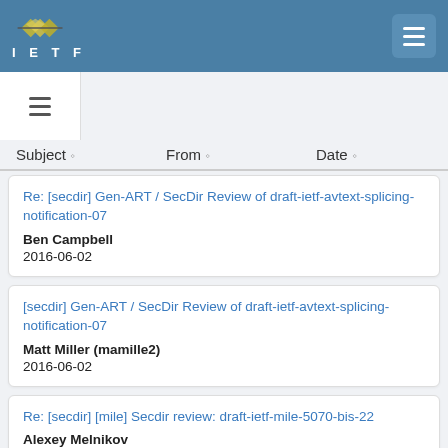IETF
| Subject | From | Date |
| --- | --- | --- |
| Re: [secdir] Gen-ART / SecDir Review of draft-ietf-avtext-splicing-notification-07 | Ben Campbell | 2016-06-02 |
| [secdir] Gen-ART / SecDir Review of draft-ietf-avtext-splicing-notification-07 | Matt Miller (mamille2) | 2016-06-02 |
| Re: [secdir] [mile] Secdir review: draft-ietf-mile-5070-bis-22 | Alexey Melnikov | 2016-06-02 |